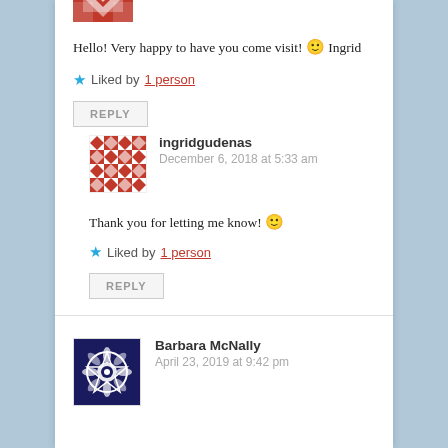[Figure (illustration): Partial red geometric pattern avatar at top]
Hello! Very happy to have you come visit! 🙂 Ingrid
★ Liked by 1 person
REPLY
[Figure (illustration): Red and white geometric quilt pattern avatar for ingridgudenas]
ingridgudenas
December 6, 2018 at 5:33 am
Thank you for letting me know! 🙂
★ Liked by 1 person
REPLY
[Figure (illustration): Dark blue and white floral geometric avatar for Barbara McNally]
Barbara McNally
April 23, 2019 at 9:42 pm